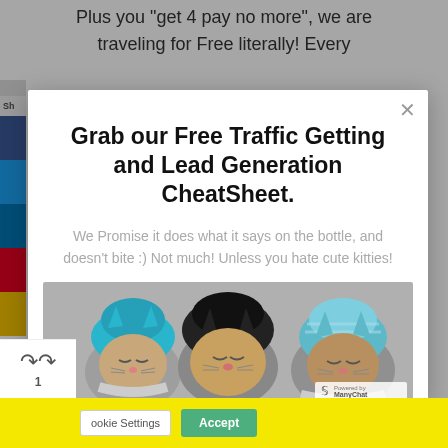Plus you "get 4 pay no more", we are traveling for Free literally! Every
Grab our Free Traffic Getting and Lead Generation CheatSheet.
We Promise it does what it says on the bottle, and doesn't bite :) Not much! Unless you hate cute kitties!
[Figure (photo): Three cats wearing knitted hats/hoods — blue, black, and blue-striped — sitting together, with a ManyChat powered badge in the bottom right corner.]
Cookie Settings   Accept